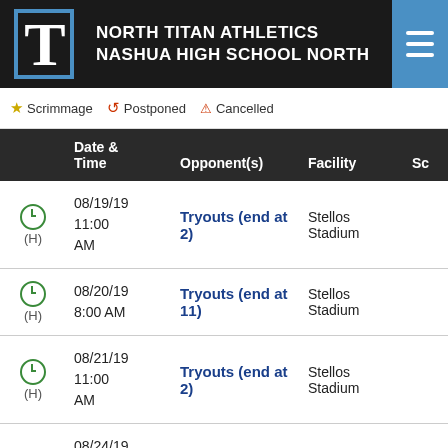NORTH TITAN ATHLETICS NASHUA HIGH SCHOOL NORTH
★ Scrimmage  ↺ Postponed  ⚠ Cancelled
|  | Date & Time | Opponent(s) | Facility | Sc |
| --- | --- | --- | --- | --- |
| (H) | 08/19/19 11:00 AM | Tryouts (end at 2) | Stellos Stadium |  |
| (H) | 08/20/19 8:00 AM | Tryouts (end at 11) | Stellos Stadium |  |
| (H) | 08/21/19 11:00 AM | Tryouts (end at 2) | Stellos Stadium |  |
| ★ | 08/24/19 11:30 | vs OPEN | Dover High |  |